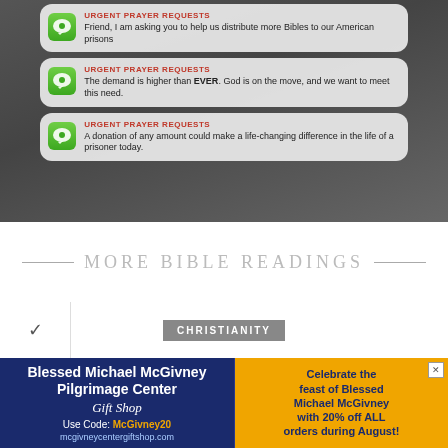[Figure (screenshot): Screenshot of a phone with three urgent prayer request message bubbles on a dark background showing a person reading a Bible.]
MORE BIBLE READINGS
CHRISTIANITY
[Figure (infographic): Advertisement for Blessed Michael McGivney Pilgrimage Center Gift Shop. Use Code: McGivney20. mcgivneycentergiftshop.com. Celebrate the feast of Blessed Michael McGivney with 20% off ALL orders during August!]